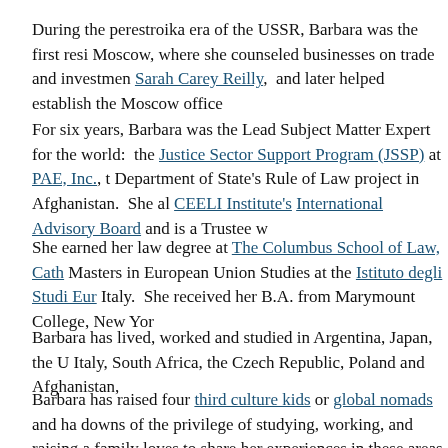During the perestroika era of the USSR, Barbara was the first resi... Moscow, where she counseled businesses on trade and investmen... Sarah Carey Reilly, and later helped establish the Moscow office...
For six years, Barbara was the Lead Subject Matter Expert for the... world: the Justice Sector Support Program (JSSP) at PAE, Inc., t... Department of State's Rule of Law project in Afghanistan. She al... CEELI Institute's International Advisory Board and is a Trustee w...
She earned her law degree at The Columbus School of Law, Cath... Masters in European Union Studies at the Istituto degli Studi Eur... Italy. She received her B.A. from Marymount College, New Yor...
Barbara has lived, worked and studied in Argentina, Japan, the U... Italy, South Africa, the Czech Republic, Poland and Afghanistan,...
Barbara has raised four third culture kids or global nomads and h... downs of the privilege of studying, working, and raising a family... loves to share her experiences in these areas with students, trailin... business people, and future diplomats. She can be contacted at be...